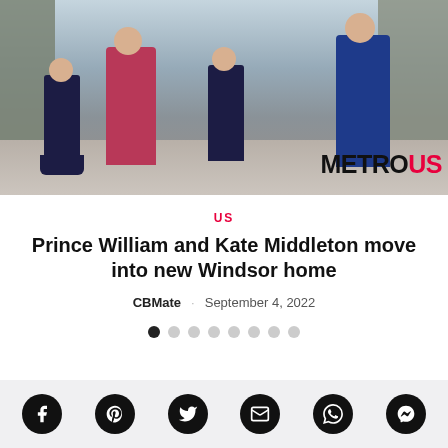[Figure (photo): Prince William, Kate Middleton, Prince George and Princess Charlotte walking together, likely on a school run. The family is walking towards the camera. Kate wears a pink floral dress, William a blue suit. The children are in navy school uniforms. Metro US logo visible in lower right corner.]
US
Prince William and Kate Middleton move into new Windsor home
CBMate · September 4, 2022
[Figure (other): Dot/carousel navigation indicator with 8 dots, first dot filled dark, rest grey]
[Figure (other): Social sharing bar with icons: Facebook, Pinterest, Twitter, Email, WhatsApp, Messenger]